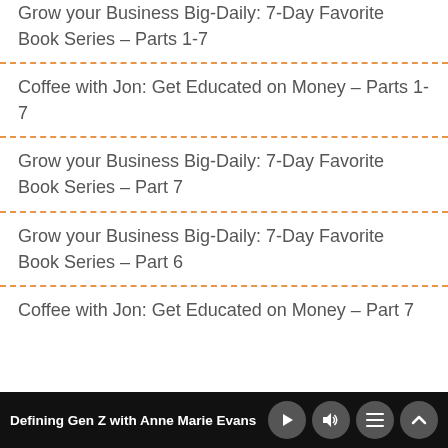Grow your Business Big-Daily: 7-Day Favorite Book Series – Parts 1-7
Coffee with Jon: Get Educated on Money – Parts 1-7
Grow your Business Big-Daily: 7-Day Favorite Book Series – Part 7
Grow your Business Big-Daily: 7-Day Favorite Book Series – Part 6
Coffee with Jon: Get Educated on Money – Part 7
Defining Gen Z with Anne Marie Evans